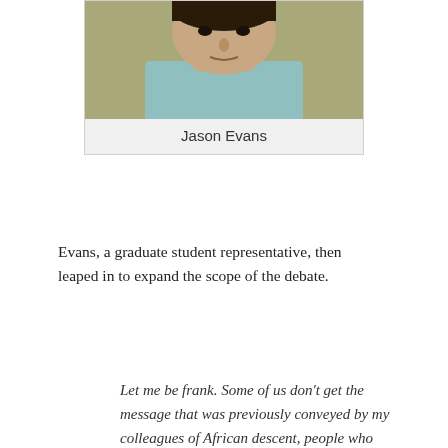[Figure (photo): Headshot photo of Jason Evans, a man in a light-colored shirt, positioned at top center of card]
Jason Evans
Evans, a graduate student representative, then leaped in to expand the scope of the debate.
Let me be frank. Some of us don't get the message that was previously conveyed by my colleagues of African descent, people who understand and decisively take an anti-racist posture. We as a body take an anti-racist posture. …